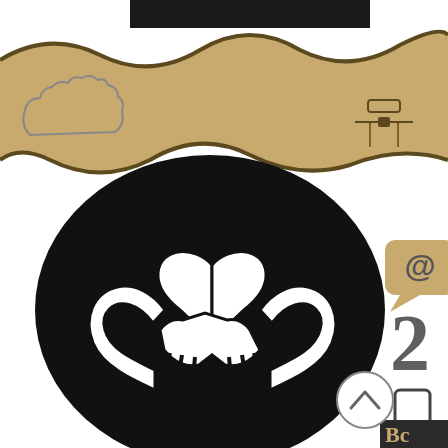[Figure (illustration): Decorative illustration showing a black oval containing a heart-shaped handshake icon in white. Background features tan/gold wavy ribbon at top with icons: briefcase, group of people with raised arms, scales of justice. Right side shows partial icons: speech bubble with @ symbol, large stylized numbers/letters, mobile phone, and 'Bc' text. A circular arrow-up button appears at bottom right of the oval.]